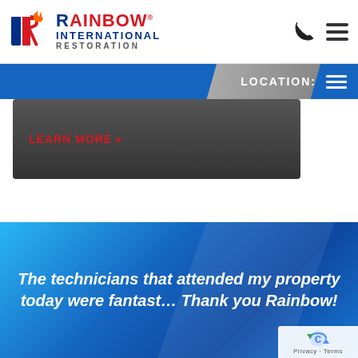[Figure (logo): Rainbow International Restoration logo with stylized R and flame icon, company name in red and blue]
[Figure (other): Phone icon and hamburger menu icon in top right navigation]
LOCATION:
LEARN MORE »
The technicians that attended my property today were fantastic. Thank you Rainbow!
[Figure (other): Google reCAPTCHA badge with Privacy and Terms text]